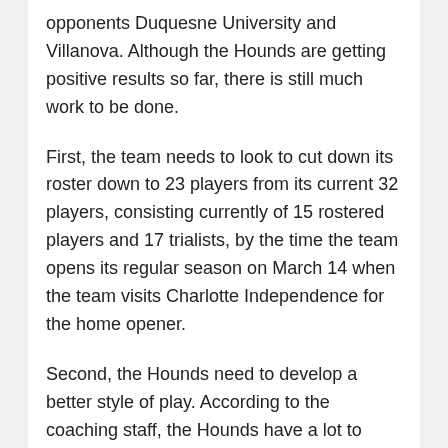opponents Duquesne University and Villanova. Although the Hounds are getting positive results so far, there is still much work to be done.
First, the team needs to look to cut down its roster down to 23 players from its current 32 players, consisting currently of 15 rostered players and 17 trialists, by the time the team opens its regular season on March 14 when the team visits Charlotte Independence for the home opener.
Second, the Hounds need to develop a better style of play. According to the coaching staff, the Hounds have a lot to work on. There is still much inconsistency in the team's movement, which has created a lack of quality chances and also has